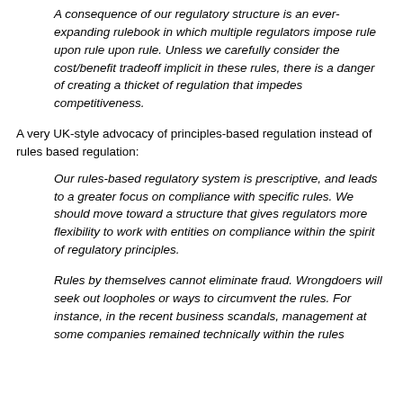A consequence of our regulatory structure is an ever-expanding rulebook in which multiple regulators impose rule upon rule upon rule. Unless we carefully consider the cost/benefit tradeoff implicit in these rules, there is a danger of creating a thicket of regulation that impedes competitiveness.
A very UK-style advocacy of principles-based regulation instead of rules based regulation:
Our rules-based regulatory system is prescriptive, and leads to a greater focus on compliance with specific rules. We should move toward a structure that gives regulators more flexibility to work with entities on compliance within the spirit of regulatory principles.
Rules by themselves cannot eliminate fraud. Wrongdoers will seek out loopholes or ways to circumvent the rules. For instance, in the recent business scandals, management at some companies remained technically within the rules